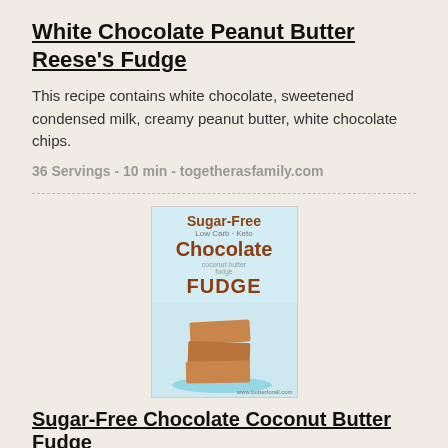White Chocolate Peanut Butter Reese's Fudge
This recipe contains white chocolate, sweetened condensed milk, creamy peanut butter, white chocolate chips.
36 Servings - 10 min - togetherasfamily.com
[Figure (photo): Recipe card image showing stacked chocolate fudge pieces on a blue plate with Sugar-Free Low Carb Keto Chocolate Coconut Butter Fudge text overlay]
Sugar-Free Chocolate Coconut Butter Fudge
This recipe contains butter, coconut, cacao, vanilla extract.
16 Servings - 10 min - butterforall.com